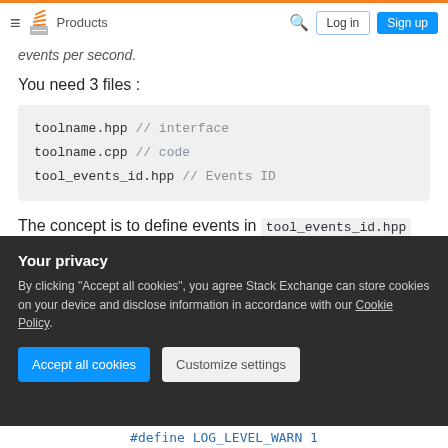≡  [Stack Overflow logo]  Products  🔍  Log in  Sign up
events per second.
You need 3 files :
toolname.hpp // interface
toolname.cpp // code
tool_events_id.hpp // Events ID
The concept is to define events in tool_events_id.hpp like that :
// EVENT NAME                                                    ID
Your privacy
By clicking "Accept all cookies", you agree Stack Exchange can store cookies on your device and disclose information in accordance with our Cookie Policy.
Accept all cookies  Customize settings
#define LOG_LEVEL_WARN 1